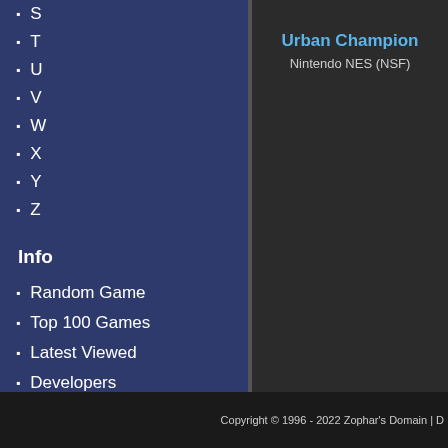S
T
U
V
W
X
Y
Z
Info
Random Game
Top 100 Games
Latest Viewed
Developers
Publishers
Music by Year
Urban Champion
Nintendo NES (NSF)
Terminator, The
Nintendo NES (NSF)
Copyright © 1996 - 2022 Zophar's Domain | D